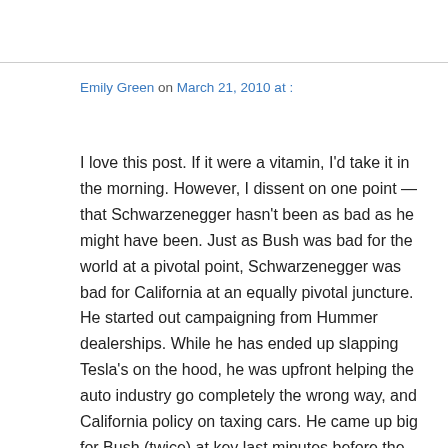Emily Green on March 21, 2010 at :
I love this post. If it were a vitamin, I'd take it in the morning. However, I dissent on one point — that Schwarzenegger hasn't been as bad as he might have been. Just as Bush was bad for the world at a pivotal point, Schwarzenegger was bad for California at an equally pivotal juncture. He started out campaigning from Hummer dealerships. While he has ended up slapping Tesla's on the hood, he was upfront helping the auto industry go completely the wrong way, and California policy on taxing cars. He came up big for Bush (twice) at key last minutes before the election. His record on education has left